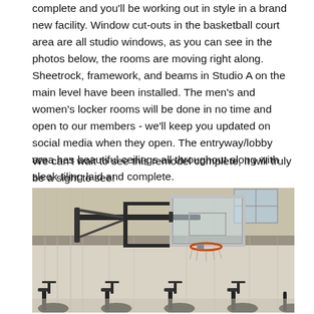complete and you'll be working out in style in a brand new facility. Window cut-outs in the basketball court area are all studio windows, as you can see in the photos below, the rooms are moving right along. Sheetrock, framework, and beams in Studio A on the main level have been installed. The men's and women's locker rooms will be done in no time and open to our members - we'll keep you updated on social media when they open. The entryway/lobby area has beautiful ceilings all throughout along with sleek tiling laid and complete.
We can't wait to see this remodel complete, it will truly be a sight to see!
[Figure (photo): Interior photo of a gymnasium/fitness facility under construction. A wall-mounted basketball backboard and hoop (glass backboard with metal frame and orange rim) is prominently visible. Plastic sheeting covers the walls and several exercise bikes (spin bikes) are visible in the foreground. The background shows construction materials and windows.]